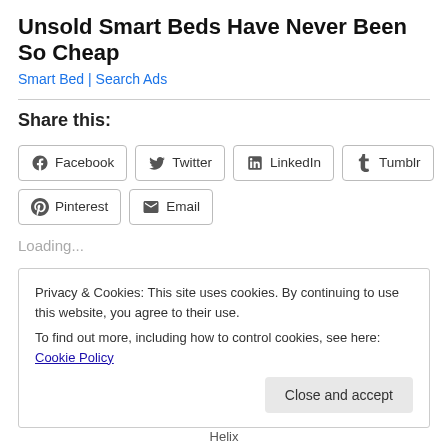Unsold Smart Beds Have Never Been So Cheap
Smart Bed | Search Ads
Share this:
Facebook  Twitter  LinkedIn  Tumblr  Pinterest  Email
Loading...
Privacy & Cookies: This site uses cookies. By continuing to use this website, you agree to their use.
To find out more, including how to control cookies, see here: Cookie Policy
Close and accept
Helix